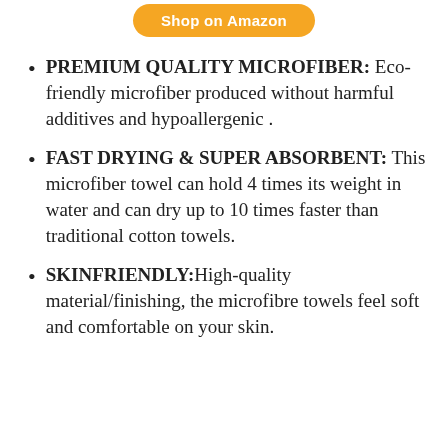[Figure (other): Orange 'Shop on Amazon' button]
PREMIUM QUALITY MICROFIBER: Eco-friendly microfiber produced without harmful additives and hypoallergenic .
FAST DRYING & SUPER ABSORBENT: This microfiber towel can hold 4 times its weight in water and can dry up to 10 times faster than traditional cotton towels.
SKINFRIENDLY:High-quality material/finishing, the microfibre towels feel soft and comfortable on your skin.